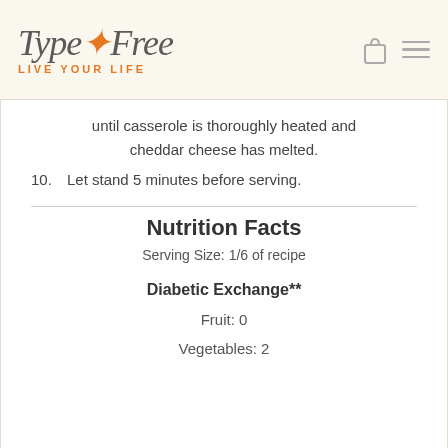[Figure (logo): TypeFree logo with orange figure icon and tagline LIVE YOUR LIFE]
until casserole is thoroughly heated and cheddar cheese has melted.
10.    Let stand 5 minutes before serving.
Nutrition Facts
Serving Size: 1/6 of recipe
Diabetic Exchange**
Fruit: 0
Vegetables: 2